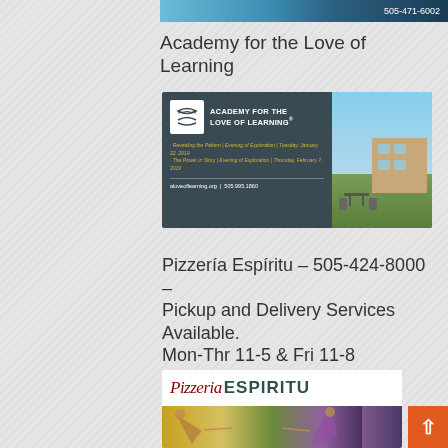[Figure (photo): Top strip showing partial image with phone number 505-471-6002]
Academy for the Love of Learning
[Figure (photo): Academy for the Love of Learning advertisement with logo, events (Revealing the Pattern Evening of Exploration Tuesday January 22 2019; The Power in Story Evening of Exploration Thursday February 7 2019), website aloveoflearning.org and phone 505.995.1860, alongside outdoor building photo]
Pizzería Espíritu – 505-424-8000 – Pickup and Delivery Services Available. Mon-Thr 11-5 & Fri 11-8
[Figure (photo): Pizzeria Espiritu advertisement with script and block lettering logo, and image of figures from a Renaissance-style painting]